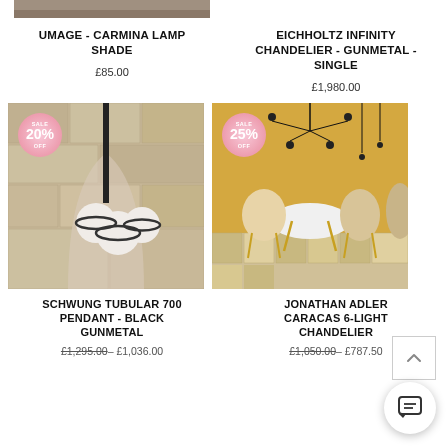[Figure (photo): Top portion of product image for UMAGE Carmina Lamp Shade, cropped at top]
[Figure (photo): Top portion of product image for Eichholtz Infinity Chandelier - Gunmetal - Single, not visible (white space)]
UMAGE - CARMINA LAMP SHADE
£85.00
EICHHOLTZ INFINITY CHANDELIER - GUNMETAL - SINGLE
£1,980.00
[Figure (photo): Schwung Tubular 700 Pendant - Black Gunmetal hanging light with three globe bulbs against stone arch wall, with SALE 20% OFF badge]
[Figure (photo): Jonathan Adler Caracas 6-Light Chandelier in a modern dining room with gold chairs, with SALE 25% OFF badge]
SCHWUNG TUBULAR 700 PENDANT - BLACK GUNMETAL
£1,295.00– £1,036.00
JONATHAN ADLER CARACAS 6-LIGHT CHANDELIER
£1,050.00– £787.50